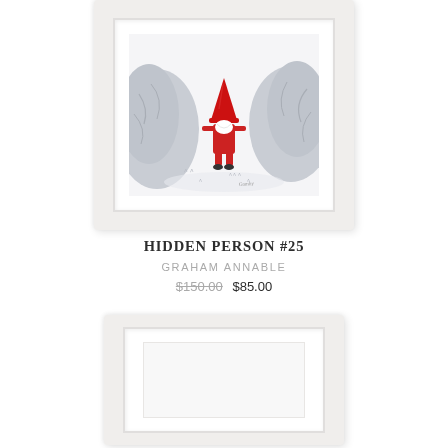[Figure (illustration): A framed artwork showing a cartoon gnome-like figure dressed in red standing between two large grey rocks, illustration style with a white mat and white frame. Artist signature visible at bottom right of image.]
HIDDEN PERSON #25
GRAHAM ANNABLE
$150.00 $85.00
[Figure (illustration): An empty white picture frame with beveled edges and a nested inner frame, photographed against a white background.]